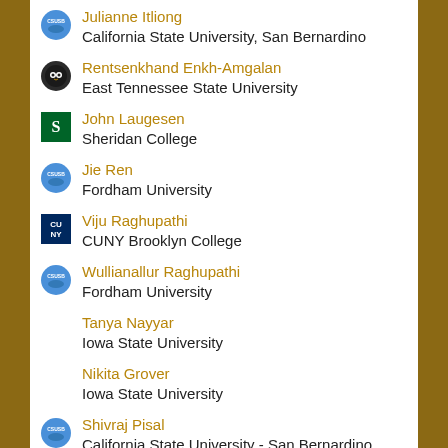Julianne Itliong
California State University, San Bernardino
Rentsenkhand Enkh-Amgalan
East Tennessee State University
John Laugesen
Sheridan College
Jie Ren
Fordham University
Viju Raghupathi
CUNY Brooklyn College
Wullianallur Raghupathi
Fordham University
Tanya Nayyar
Iowa State University
Nikita Grover
Iowa State University
Shivraj Pisal
California State University - San Bernardino
Steven DeAmon
Bowling Green State University